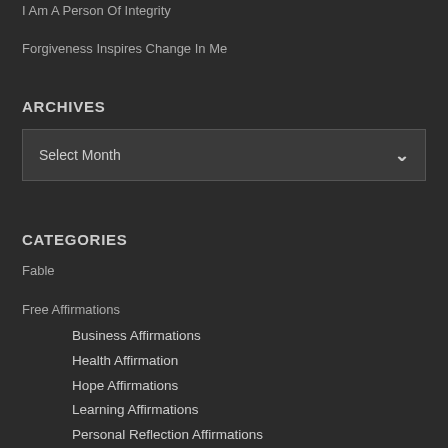I Am A Person Of Integrity
Forgiveness Inspires Change In Me
ARCHIVES
Select Month
CATEGORIES
Fable
Free Affirmations
Business Affirmations
Health Affirmation
Hope Affirmations
Learning Affirmations
Personal Reflection Affirmations